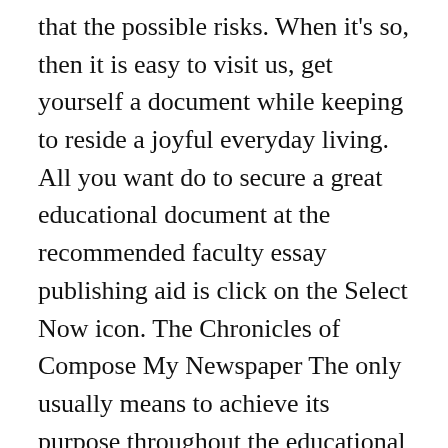that the possible risks. When it's so, then it is easy to visit us, get yourself a document while keeping to reside a joyful everyday living. All you want do to secure a great educational document at the recommended faculty essay publishing aid is click on the Select Now icon. The Chronicles of Compose My Newspaper The only usually means to achieve its purpose throughout the educational program is to aim for competent service plan highlighting verified experts in several fields. Make sure you cautious even though deciding upon a penning business as without having finding a reputable bureau for example us your homework won't truly discover the excellent care it needs. It's such as you ended up being assistance from a